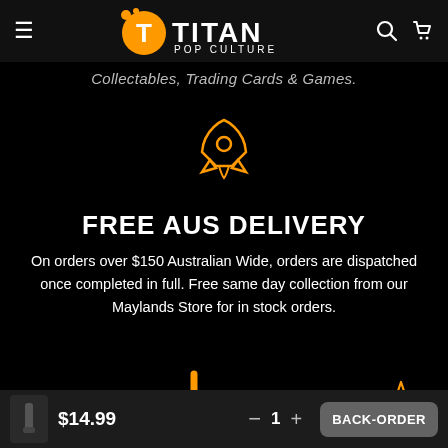[Figure (logo): Titan Pop Culture logo with orange circle T and white TITAN text]
Collectables, Trading Cards & Games.
[Figure (illustration): Orange rocket icon]
FREE AUS DELIVERY
On orders over $150 Australian Wide, orders are dispatched once completed in full. Free same day collection from our Maylands Store for in stock orders.
[Figure (illustration): Orange plus/cross icon]
[Figure (illustration): Orange puzzle/star icon]
$14.99
1
BACK-ORDER